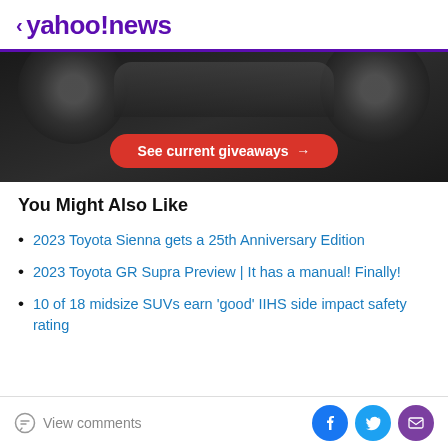< yahoo!news
[Figure (photo): Car advertisement banner image showing dark car with wheels, and a red button labeled 'See current giveaways →']
You Might Also Like
2023 Toyota Sienna gets a 25th Anniversary Edition
2023 Toyota GR Supra Preview | It has a manual! Finally!
10 of 18 midsize SUVs earn 'good' IIHS side impact safety rating
View comments